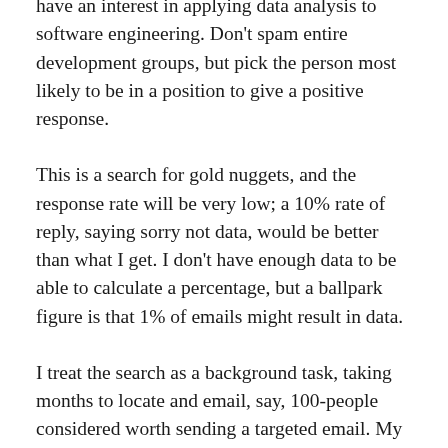have an interest in applying data analysis to software engineering. Don't spam entire development groups, but pick the person most likely to be in a position to give a positive response.
This is a search for gold nuggets, and the response rate will be very low; a 10% rate of reply, saying sorry not data, would be better than what I get. I don't have enough data to be able to calculate a percentage, but a ballpark figure is that 1% of emails might result in data.
I treat the search as a background task, taking months to locate and email, say, 100-people considered worth sending a targeted email. My experience is that I come up with a search idea or encounter a blog post that suggests a line of enquiry, that may result in sending half-a-dozen emails. The following week, if I'm lucky, the same thing might happen again (perhaps with fewer emails). It's a slow process.